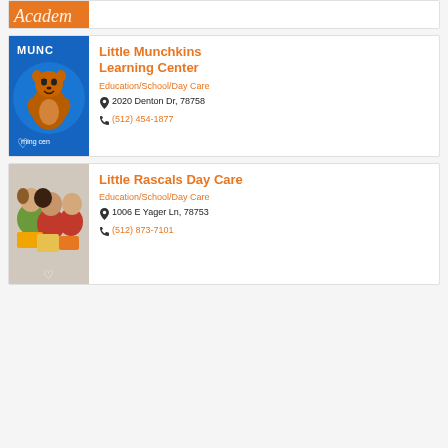[Figure (logo): Partial view of an Academy logo with orange background and script text]
[Figure (illustration): Little Munchkins Learning Center logo — cartoon beaver/groundhog mascot on blue circular background]
Little Munchkins Learning Center
Education/School/Day Care
2020 Denton Dr, 78758
(512) 454-1877
[Figure (photo): Children reading books — two kids leaning over yellow and orange books]
Little Rascals Day Care
Education/School/Day Care
1006 E Yager Ln, 78753
(512) 873-7101